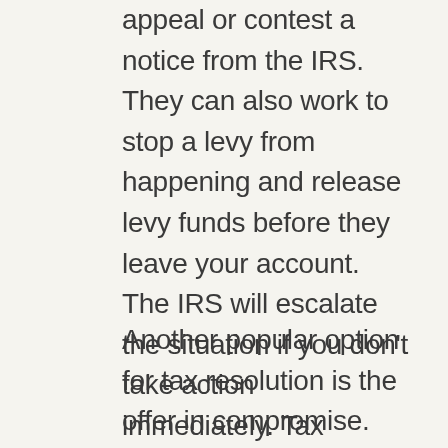appeal or contest a notice from the IRS. They can also work to stop a levy from happening and release levy funds before they leave your account. The IRS will escalate the situation if you don't take action immediately. Tax resolution specialists will help you negotiate with the IRS, so you can get your assets back on track. It's better to work with the IRS than to ignore them and risk having your property seized.
Another popular option for tax resolution is the offer in compromise. This method allows you to pay less than you owe but still take care of the